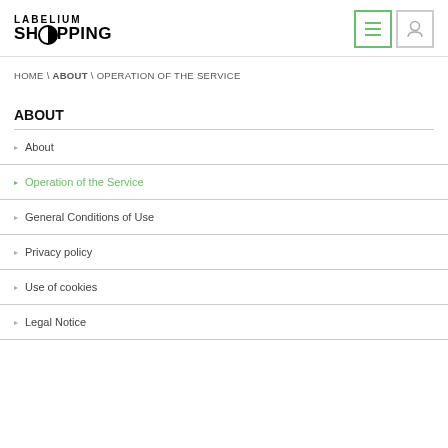LABELIUM SHOPPING [logo with icon]
HOME \ ABOUT \ OPERATION OF THE SERVICE
ABOUT
About
Operation of the Service
General Conditions of Use
Privacy policy
Use of cookies
Legal Notice